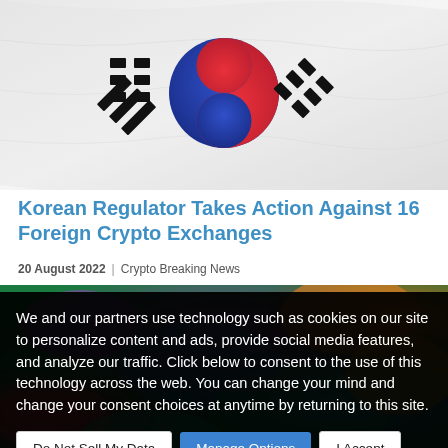[Figure (photo): South Korean flag (Taegukgi) — white background with red and blue yin-yang circle in center and black trigrams in each corner]
Korean Regulator Takes Action Against 16 Foreign Crypto Exchanges
20 August 2022 | Crypto Breaking News
[Figure (photo): Colorful psychedelic background image, partially visible behind cookie consent overlay]
We and our partners use technology such as cookies on our site to personalize content and ads, provide social media features, and analyze our traffic. Click below to consent to the use of this technology across the web. You can change your mind and change your consent choices at anytime by returning to this site.
Do Not Sell My Data | Manage Options | I Accept
Powered by OniConsent